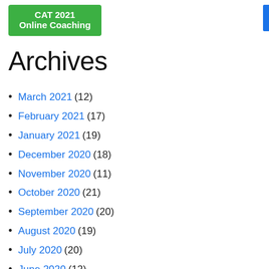[Figure (logo): Green rounded rectangle logo with white bold text: CAT 2021 Online Coaching]
Archives
March 2021 (12)
February 2021 (17)
January 2021 (19)
December 2020 (18)
November 2020 (11)
October 2020 (21)
September 2020 (20)
August 2020 (19)
July 2020 (20)
June 2020 (12)
May 2020 (10)
April 2020 (6)
March 2020 (2)
February 2020 (5)